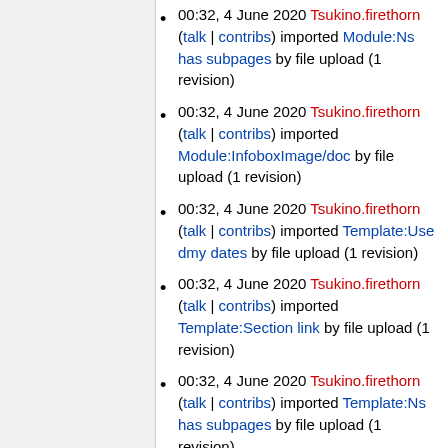00:32, 4 June 2020 Tsukino.firethorn (talk | contribs) imported Module:Ns has subpages by file upload (1 revision)
00:32, 4 June 2020 Tsukino.firethorn (talk | contribs) imported Module:InfoboxImage/doc by file upload (1 revision)
00:32, 4 June 2020 Tsukino.firethorn (talk | contribs) imported Template:Use dmy dates by file upload (1 revision)
00:32, 4 June 2020 Tsukino.firethorn (talk | contribs) imported Template:Section link by file upload (1 revision)
00:32, 4 June 2020 Tsukino.firethorn (talk | contribs) imported Template:Ns has subpages by file upload (1 revision)